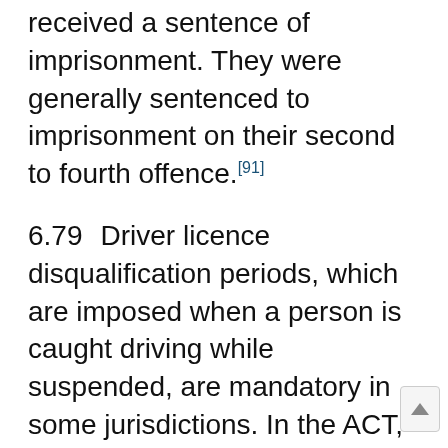received a sentence of imprisonment. They were generally sentenced to imprisonment on their second to fourth offence.[91]
6.79 Driver licence disqualification periods, which are imposed when a person is caught driving while suspended, are mandatory in some jurisdictions. In the ACT, NSW, and Queensland, courts do not have a discretion whether or not to apply a statutory disqualification period.[92] Where there is more than one disqualification period, the periods